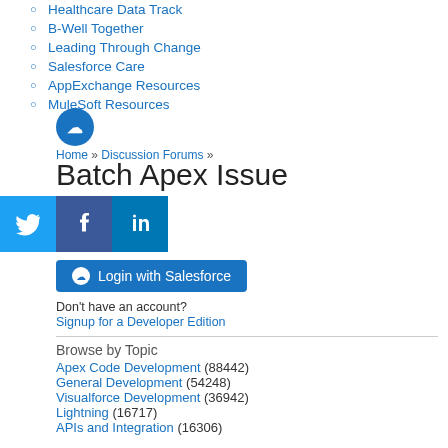Healthcare Data Track
B-Well Together
Leading Through Change
Salesforce Care
AppExchange Resources
MuleSoft Resources
[Figure (logo): Salesforce cloud logo (blue circle)]
Home » Discussion Forums »
Batch Apex Issue
[Figure (illustration): Social media share icons: Twitter (blue bird), Facebook (blue f), LinkedIn (blue in)]
[Figure (other): Login with Salesforce button (blue rounded button with cloud icon)]
Don't have an account?
Signup for a Developer Edition
Browse by Topic
Apex Code Development (88442)
General Development (54248)
Visualforce Development (36942)
Lightning (16717)
APIs and Integration (16306)
Trailhead (11466)
Formulas & Validation Rules Discussion (10897)